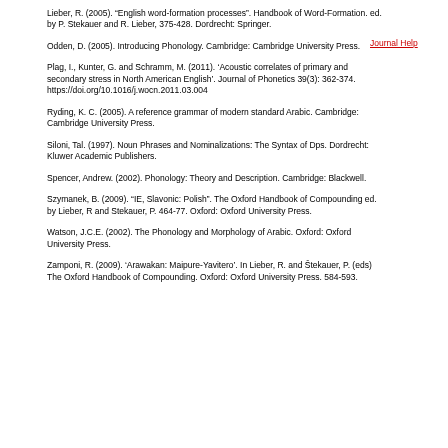Lieber, R. (2005). “English word-formation processes”. Handbook of Word-Formation. ed. by P. Stekauer and R. Lieber, 375-428. Dordrecht: Springer.
Journal Help
Odden, D. (2005). Introducing Phonology. Cambridge: Cambridge University Press.
Plag, I., Kunter, G. and Schramm, M. (2011). ‘Acoustic correlates of primary and secondary stress in North American English’. Journal of Phonetics 39(3): 362-374. https://doi.org/10.1016/j.wocn.2011.03.004
Ryding, K. C. (2005). A reference grammar of modern standard Arabic. Cambridge: Cambridge University Press.
Siloni, Tal. (1997). Noun Phrases and Nominalizations: The Syntax of Dps. Dordrecht: Kluwer Academic Publishers.
Spencer, Andrew. (2002). Phonology: Theory and Description. Cambridge: Blackwell.
Szymanek, B. (2009). “IE, Slavonic: Polish”. The Oxford Handbook of Compounding ed. by Lieber, R and Stekauer, P. 464-77. Oxford: Oxford University Press.
Watson, J.C.E. (2002). The Phonology and Morphology of Arabic. Oxford: Oxford University Press.
Zamponi, R. (2009). ‘Arawakan: Maipure-Yavitero’. In Lieber, R. and Štekauer, P. (eds) The Oxford Handbook of Compounding. Oxford: Oxford University Press. 584-593.